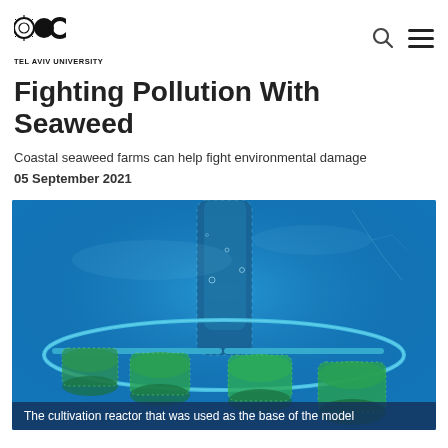TEL AVIV UNIVERSITY
Fighting Pollution With Seaweed
Coastal seaweed farms can help fight environmental damage
05 September 2021
[Figure (photo): Underwater photograph of a cultivation reactor with cylindrical mesh containers filled with green seaweed, arranged on a circular platform structure, submerged in blue water.]
The cultivation reactor that was used as the base of the model